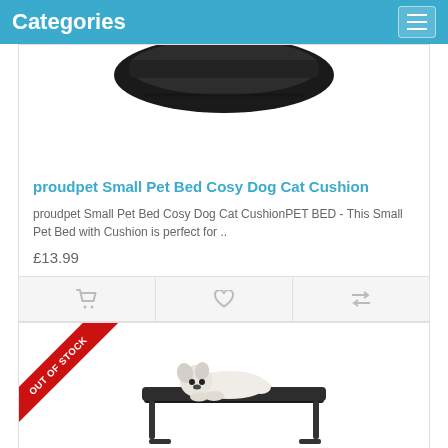Categories
[Figure (photo): Partial view of a dark pet cushion/bed product image (top cropped)]
proudpet Small Pet Bed Cosy Dog Cat Cushion
proudpet Small Pet Bed Cosy Dog Cat CushionPET BED - This Small Pet Bed with Cushion is perfect for ..
£13.99
[Figure (photo): White puppy lying on a black elevated metal dog bed, with OUT OF STOCK ribbon in the corner]